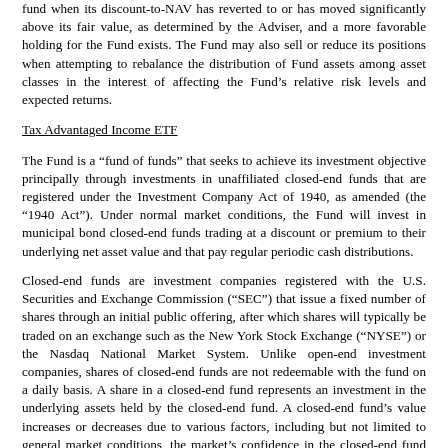fund when its discount-to-NAV has reverted to or has moved significantly above its fair value, as determined by the Adviser, and a more favorable holding for the Fund exists. The Fund may also sell or reduce its positions when attempting to rebalance the distribution of Fund assets among asset classes in the interest of affecting the Fund's relative risk levels and expected returns.
Tax Advantaged Income ETF
The Fund is a “fund of funds” that seeks to achieve its investment objective principally through investments in unaffiliated closed-end funds that are registered under the Investment Company Act of 1940, as amended (the “1940 Act”). Under normal market conditions, the Fund will invest in municipal bond closed-end funds trading at a discount or premium to their underlying net asset value and that pay regular periodic cash distributions.
Closed-end funds are investment companies registered with the U.S. Securities and Exchange Commission (“SEC”) that issue a fixed number of shares through an initial public offering, after which shares will typically be traded on an exchange such as the New York Stock Exchange (“NYSE”) or the Nasdaq National Market System. Unlike open-end investment companies, shares of closed-end funds are not redeemable with the fund on a daily basis. A share in a closed-end fund represents an investment in the underlying assets held by the closed-end fund. A closed-end fund’s value increases or decreases due to various factors, including but not limited to general market conditions, the market’s confidence in the closed-end fund adviser’s ability to generate desired investment returns, and investor confidence in the closed-end fund’s underlying assets. The Adviser seeks to select closed-end funds for the Fund’s portfolio whose shares are trading at a discount or premium relative to their underlying